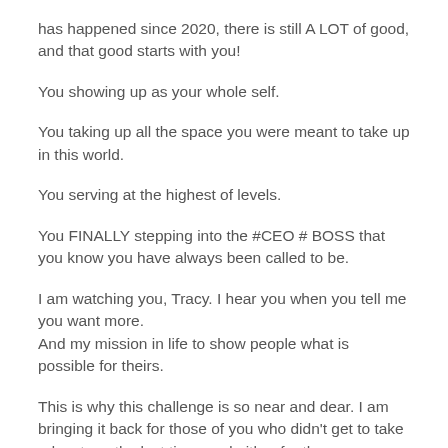has happened since 2020, there is still A LOT of good, and that good starts with you!
You showing up as your whole self.
You taking up all the space you were meant to take up in this world.
You serving at the highest of levels.
You FINALLY stepping into the #CEO # BOSS that you know you have always been called to be.
I am watching you, Tracy. I hear you when you tell me you want more.
And my mission in life to show people what is possible for theirs.
This is why this challenge is so near and dear. I am bringing it back for those of you who didn't get to take advantage the last time, and either for those...